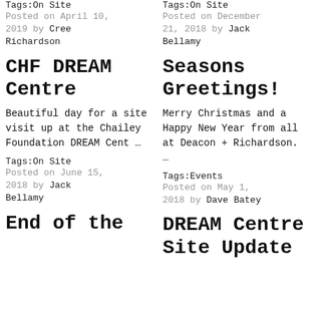Tags:On Site
Posted on April 10, 2019 by Cree Richardson
Tags:On Site
Posted on December 21, 2018 by Jack Bellamy
CHF DREAM Centre
Seasons Greetings!
Beautiful day for a site visit up at the Chailey Foundation DREAM Cent …
Merry Christmas and a Happy New Year from all at Deacon + Richardson. …
Tags:On Site
Posted on June 15, 2018 by Jack Bellamy
Tags:Events
Posted on May 1, 2018 by Dave Batey
End of the
DREAM Centre Site Update